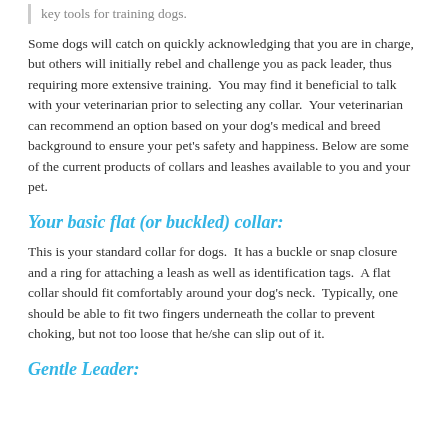key tools for training dogs.
Some dogs will catch on quickly acknowledging that you are in charge, but others will initially rebel and challenge you as pack leader, thus requiring more extensive training.  You may find it beneficial to talk with your veterinarian prior to selecting any collar.  Your veterinarian can recommend an option based on your dog's medical and breed background to ensure your pet's safety and happiness. Below are some of the current products of collars and leashes available to you and your pet.
Your basic flat (or buckled) collar:
This is your standard collar for dogs.  It has a buckle or snap closure and a ring for attaching a leash as well as identification tags.  A flat collar should fit comfortably around your dog's neck.  Typically, one should be able to fit two fingers underneath the collar to prevent choking, but not too loose that he/she can slip out of it.
Gentle Leader: